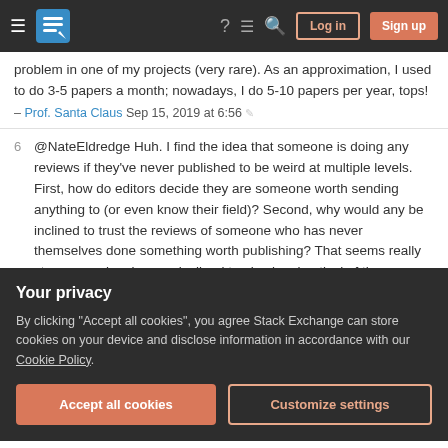Stack Exchange navigation bar with Log in and Sign up buttons
problem in one of my projects (very rare). As an approximation, I used to do 3-5 papers a month; nowadays, I do 5-10 papers per year, tops!
– Prof. Santa Claus Sep 15, 2019 at 6:56
6 @NateEldredge Huh. I find the idea that someone is doing any reviews if they've never published to be weird at multiple levels. First, how do editors decide they are someone worth sending anything to (or even know their field)? Second, why would any be inclined to trust the reviews of someone who has never themselves done something worth publishing? That seems really strange, and makes me inclined to also be skeptical of those numbers. – JoshuaZ Sep 15
Your privacy
By clicking "Accept all cookies", you agree Stack Exchange can store cookies on your device and disclose information in accordance with our Cookie Policy.
Accept all cookies
Customize settings
too. A couple of my recent reviews, when the editor